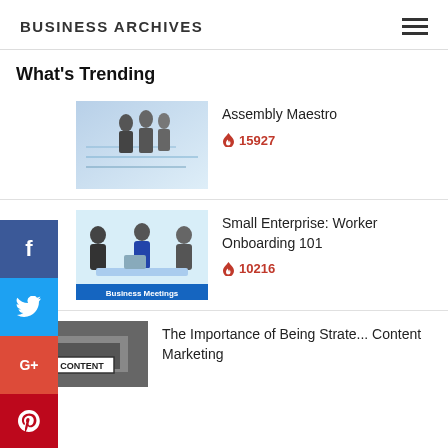BUSINESS ARCHIVES
What's Trending
[Figure (photo): Business professionals standing around a desk with charts and graphs]
Assembly Maestro
🔥 15927
[Figure (illustration): Cartoon illustration of business meeting with people around a table, labeled Business Meetings]
Small Enterprise: Worker Onboarding 101
🔥 10216
[Figure (photo): Photo with CONTENT sign visible]
The Importance of Being Strate... Content Marketing